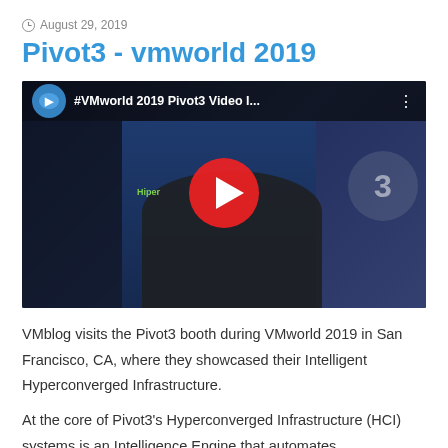August 29, 2019
Pivot3 - vmworld 2019
[Figure (screenshot): YouTube video thumbnail showing a man at the Pivot3 booth during VMworld 2019, with title '#VMworld 2019 Pivot3 Video I...' and a red YouTube play button overlay.]
VMblog visits the Pivot3 booth during VMworld 2019 in San Francisco, CA, where they showcased their Intelligent Hyperconverged Infrastructure.
At the core of Pivot3's Hyperconverged Infrastructure (HCI) systems is an Intelligence Engine that automates